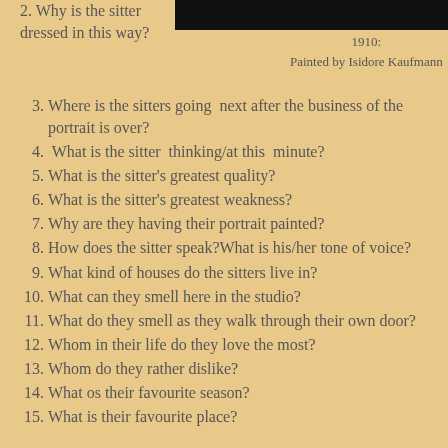[Figure (photo): Dark/black rectangular image at the top right of the page]
2. Why is the sitter dressed in this way?
1910:
Painted by Isidore Kaufmann
3. Where is the sitters going  next after the business of the portrait is over?
4.  What is the sitter  thinking/at this  minute?
5. What is the sitter's greatest quality?
6. What is the sitter's greatest weakness?
7. Why are they having their portrait painted?
8. How does the sitter speak?What is his/her tone of voice?
9. What kind of houses do the sitters live in?
10. What can they smell here in the studio?
11. What do they smell as they walk through their own door?
12. Whom in their life do they love the most?
13. Whom do they rather dislike?
14. What os their favourite season?
15. What is their favourite place?